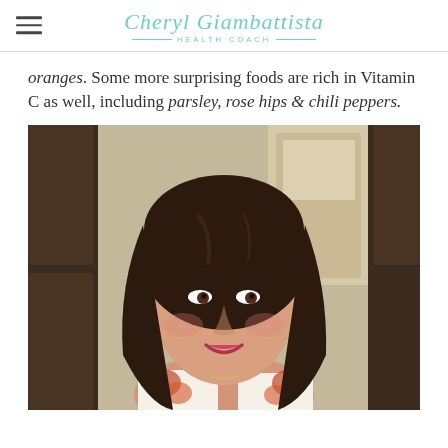Cheryl Giambattista HEALTH COACH
oranges. Some more surprising foods are rich in Vitamin C as well, including parsley, rose hips & chili peppers.
[Figure (photo): Smiling woman with dark wavy hair wearing a floral top, seated indoors in front of wooden cabinetry.]